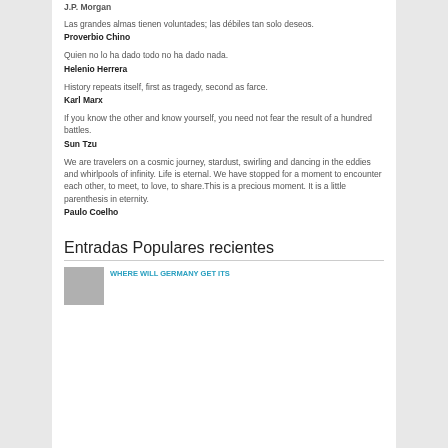J.P. Morgan
Las grandes almas tienen voluntades; las débiles tan solo deseos.
Proverbio Chino
Quien no lo ha dado todo no ha dado nada.
Helenio Herrera
History repeats itself, first as tragedy, second as farce.
Karl Marx
If you know the other and know yourself, you need not fear the result of a hundred battles.
Sun Tzu
We are travelers on a cosmic journey, stardust, swirling and dancing in the eddies and whirlpools of infinity. Life is eternal. We have stopped for a moment to encounter each other, to meet, to love, to share.This is a precious moment. It is a little parenthesis in eternity.
Paulo Coelho
Entradas Populares recientes
WHERE WILL GERMANY GET ITS